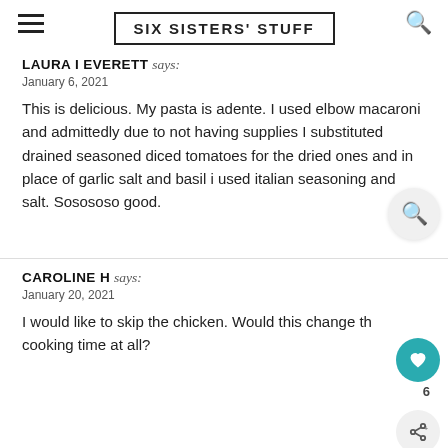SIX SISTERS' STUFF
LAURA I EVERETT says:
January 6, 2021

This is delicious. My pasta is adente. I used elbow macaroni and admittedly due to not having supplies I substituted drained seasoned diced tomatoes for the dried ones and in place of garlic salt and basil i used italian seasoning and salt. Sosososo good.
CAROLINE H says:
January 20, 2021

I would like to skip the chicken. Would this change the cooking time at all?